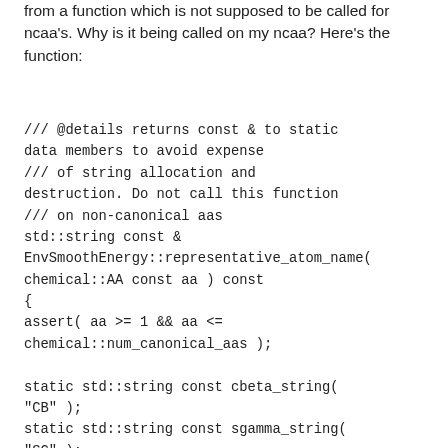from a function which is not supposed to be called for ncaa's. Why is it being called on my ncaa? Here's the function: